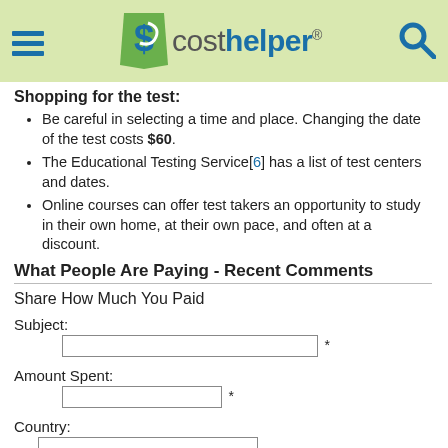[Figure (logo): CostHelper logo with green dollar sign icon and blue search icon, hamburger menu]
Shopping for the test:
Be careful in selecting a time and place. Changing the date of the test costs $60.
The Educational Testing Service[6] has a list of test centers and dates.
Online courses can offer test takers an opportunity to study in their own home, at their own pace, and often at a discount.
What People Are Paying - Recent Comments
Share How Much You Paid
Subject:
Amount Spent:
Country:
Study Guide Used:
Comments: